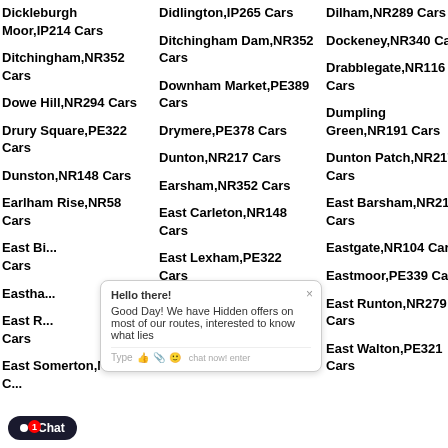Dickleburgh Moor,IP214 Cars
Ditchingham,NR352 Cars
Dowe Hill,NR294 Cars
Drury Square,PE322 Cars
Dunston,NR148 Cars
Earlham Rise,NR58 Cars
East B... Cars
Eastha...
East R... Cars
East Somerton,NR294 C...
Didlington,IP265 Cars
Ditchingham Dam,NR352 Cars
Downham Market,PE389 Cars
Drymere,PE378 Cars
Dunton,NR217 Cars
Earsham,NR352 Cars
East Carleton,NR148 Cars
East Lexham,PE322 Cars
East Rudham,PE318 Cars
East Tuddenham,NR203 Cars
Dilham,NR289 Cars
Dockeney,NR340 Cars
Drabblegate,NR116 Cars
Dumpling Green,NR191 Cars
Dunton Patch,NR217 Cars
East Barsham,NR210 Cars
Eastgate,NR104 Cars
Eastmoor,PE339 Cars
East Runton,NR279 Cars
East Walton,PE321 Cars